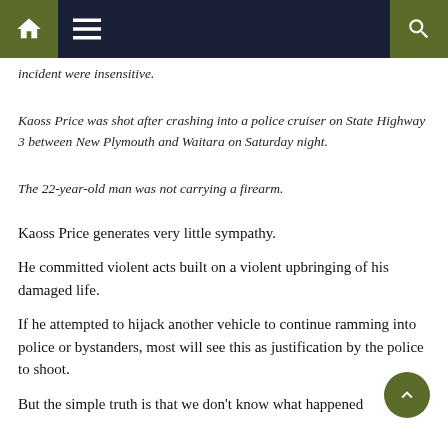Navigation bar with home, menu, and search icons
incident were insensitive.
Kaoss Price was shot after crashing into a police cruiser on State Highway 3 between New Plymouth and Waitara on Saturday night.
The 22-year-old man was not carrying a firearm.
Kaoss Price generates very little sympathy.
He committed violent acts built on a violent upbringing of his damaged life.
If he attempted to hijack another vehicle to continue ramming into police or bystanders, most will see this as justification by the police to shoot.
But the simple truth is that we don't know what happened